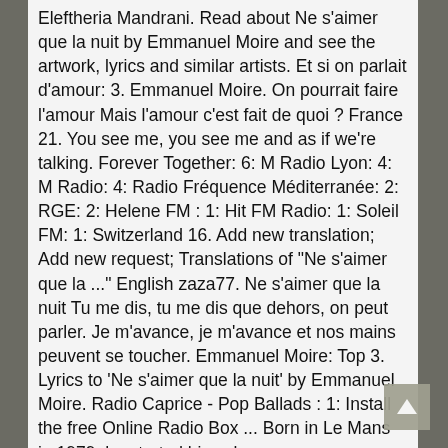Eleftheria Mandrani. Read about Ne s'aimer que la nuit by Emmanuel Moire and see the artwork, lyrics and similar artists. Et si on parlait d'amour: 3. Emmanuel Moire. On pourrait faire l'amour Mais l'amour c'est fait de quoi ? France 21. You see me, you see me and as if we're talking. Forever Together: 6: M Radio Lyon: 4: M Radio: 4: Radio Fréquence Méditerranée: 2: RGE: 2: Helene FM : 1: Hit FM Radio: 1: Soleil FM: 1: Switzerland 16. Add new translation; Add new request; Translations of "Ne s'aimer que la ..." English zaza77. Ne s'aimer que la nuit Tu me dis, tu me dis que dehors, on peut parler. Je m'avance, je m'avance et nos mains peuvent se toucher. Emmanuel Moire: Top 3. Lyrics to 'Ne s'aimer que la nuit' by Emmanuel Moire. Radio Caprice - Pop Ballads : 1: Install the free Online Radio Box ... Born in Le Mans in 1979, he started his solo career, as many famous French artists, after taking part in musicals. ne s'aimer que la nuit guitare by mykltek published on 2014-01-19T10:47:15Z. Share your thoughts about Ne s'aimer que la nuit. Rafabutts Hypnotic Living ®
[Figure (other): Scroll-up button arrow icon in grey box at bottom right]